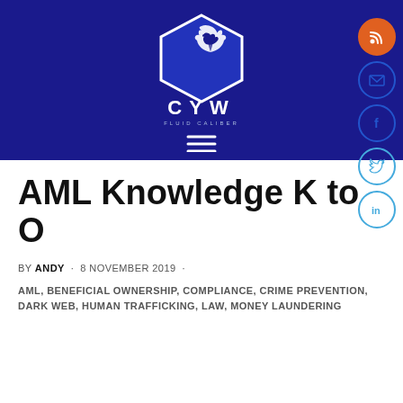[Figure (logo): CYW eagle logo in white on dark blue hexagon background with text 'CYW FLUID CALIBER', hamburger menu icon below]
[Figure (infographic): Social media sidebar icons: RSS (orange circle), email (blue circle), Facebook (blue circle), Twitter (light blue circle), LinkedIn (light blue circle)]
AML Knowledge K to O
BY ANDY · 8 NOVEMBER 2019 ·
AML, BENEFICIAL OWNERSHIP, COMPLIANCE, CRIME PREVENTION, DARK WEB, HUMAN TRAFFICKING, LAW, MONEY LAUNDERING